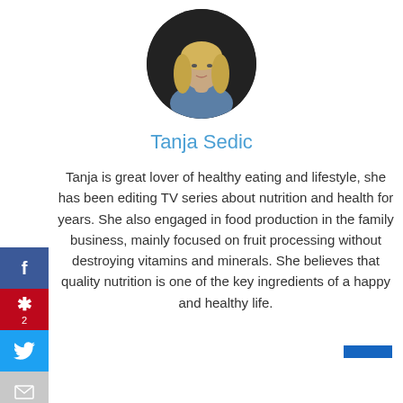[Figure (photo): Circular profile photo of a blonde woman (Tanja Sedic) against a dark background, wearing a blue/grey jacket]
Tanja Sedic
Tanja is great lover of healthy eating and lifestyle, she has been editing TV series about nutrition and health for years. She also engaged in food production in the family business, mainly focused on fruit processing without destroying vitamins and minerals. She believes that quality nutrition is one of the key ingredients of a happy and healthy life.